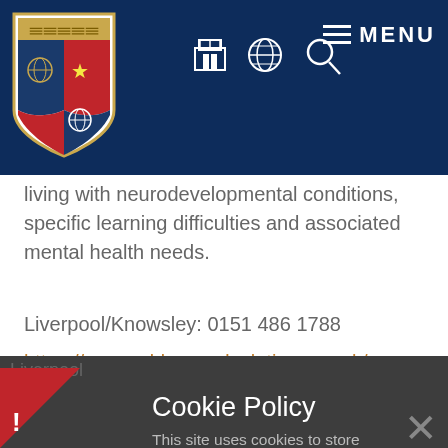[Figure (logo): University shield/crest logo with red and blue sections, star, globe, and wheat/feather motifs on a navy background header with navigation icons and MENU button]
living with neurodevelopmental conditions, specific learning difficulties and associated mental health needs.
Liverpool/Knowsley: 0151 486 1788
https://www.addvancedsolutions.co.uk/our-
Cookie Policy
This site uses cookies to store information on your computer. Click here for more information
Allow Cookies
Deny Cookies